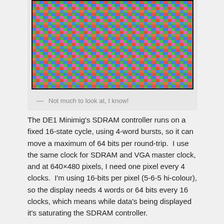[Figure (photo): Close-up photograph of an LCD or display screen showing individual RGB pixel subpixels in a colorful grid pattern with red, green, blue, and pink stripes.]
— Not much to look at, I know!
The DE1 Minimig's SDRAM controller runs on a fixed 16-state cycle, using 4-word bursts, so it can move a maximum of 64 bits per round-trip. I use the same clock for SDRAM and VGA master clock, and at 640×480 pixels, I need one pixel every 4 clocks. I'm using 16-bits per pixel (5-6-5 hi-colour), so the display needs 4 words or 64 bits every 16 clocks, which means while data's being displayed it's saturating the SDRAM controller.